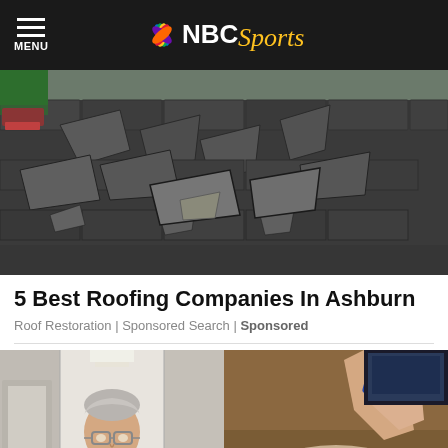MENU | NBC Sports
[Figure (photo): Damaged roof with curling and peeling asphalt shingles, close-up view. Trees and cars visible in background.]
5 Best Roofing Companies In Ashburn
Roof Restoration | Sponsored Search | Sponsored
[Figure (photo): Left: older man with glasses in a medical/office corridor. Right: close-up of someone applying a bandage or medical tape.]